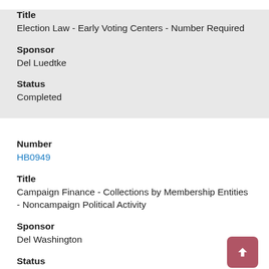Title
Election Law - Early Voting Centers - Number Required
Sponsor
Del Luedtke
Status
Completed
Number
HB0949
Title
Campaign Finance - Collections by Membership Entities - Noncampaign Political Activity
Sponsor
Del Washington
Status